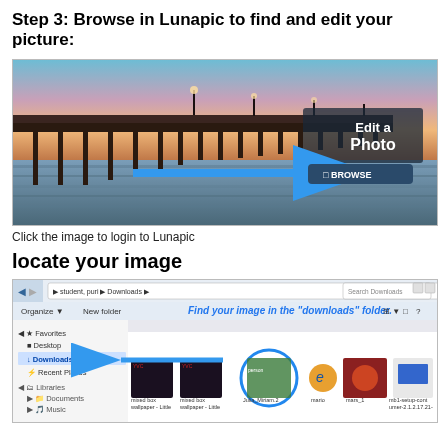Step 3: Browse in Lunapic to find and edit your picture:
[Figure (screenshot): Lunapic website screenshot showing a pier at sunset with 'Edit a Photo' text and a blue BROWSE button with arrow]
Click the image to login to Lunapic
locate your image
[Figure (screenshot): Windows Explorer Downloads folder screenshot showing image files with annotation 'Find your image in the downloads folder.' and blue arrow pointing to Downloads folder, with a circled image file Julia_Miriam.2]